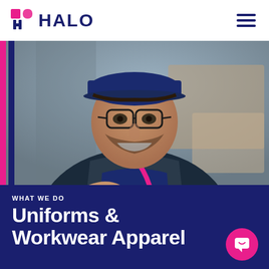HALO
[Figure (photo): Smiling man wearing glasses, a navy blue cap, navy t-shirt and vest with a pink lanyard, reaching forward toward camera, background shows boxes/warehouse setting. Decorative pink and dark blue vertical accent bars on the left side of the image.]
WHAT WE DO
Uniforms & Workwear Apparel